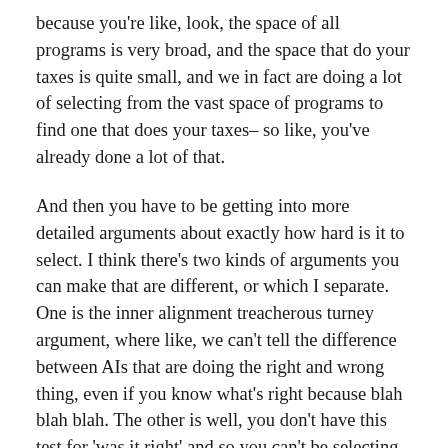because you're like, look, the space of all programs is very broad, and the space that do your taxes is quite small, and we in fact are doing a lot of selecting from the vast space of programs to find one that does your taxes– so like, you've already done a lot of that.
And then you have to be getting into more detailed arguments about exactly how hard is it to select. I think there's two kinds of arguments you can make that are different, or which I separate. One is the inner alignment treacherous turney argument, where like, we can't tell the difference between AIs that are doing the right and wrong thing, even if you know what's right because blah blah blah. The other is well, you don't have this test for 'was it right' and so you can't be selecting for 'does the right thing'.
This is a place where the concern is disjunctive, you have